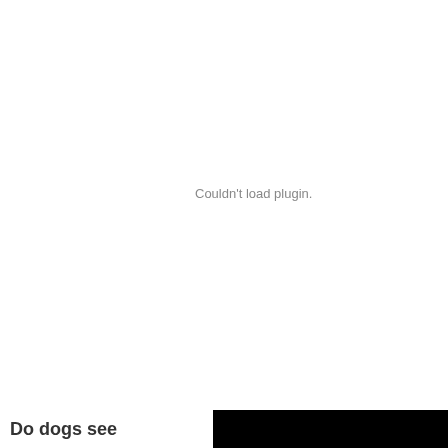Couldn't load plugin.
Do dogs see